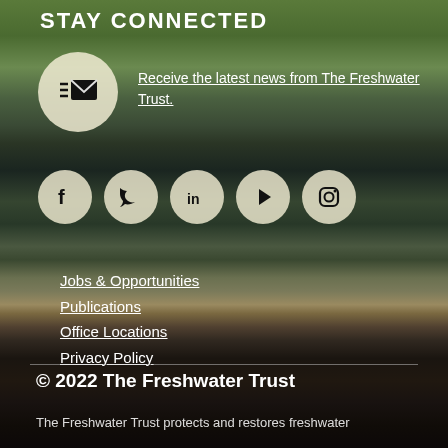STAY CONNECTED
Receive the latest news from The Freshwater Trust.
[Figure (infographic): Email newsletter signup icon (envelope with lines) inside a cream/beige circle, and five social media icons (Facebook, Twitter, LinkedIn, YouTube/Play, Instagram) each in cream circles, on a blurred nature/water background.]
Jobs & Opportunities
Publications
Office Locations
Privacy Policy
© 2022 The Freshwater Trust
The Freshwater Trust protects and restores freshwater